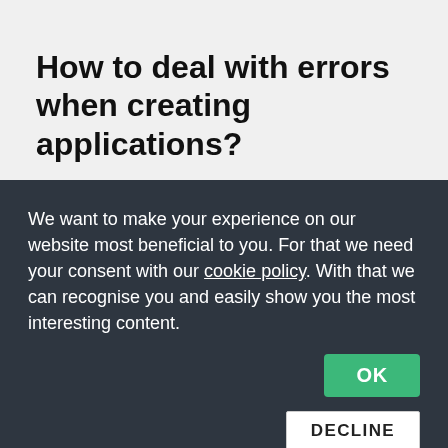How to deal with errors when creating applications?
Errors sometimes occur, moreover, according to the law, customers have the ability to complain about a hidden defect within 2 years of project completion, which also applies to mobile
We want to make your experience on our website most beneficial to you. For that we need your consent with our cookie policy. With that we can recognise you and easily show you the most interesting content.
OK
DECLINE